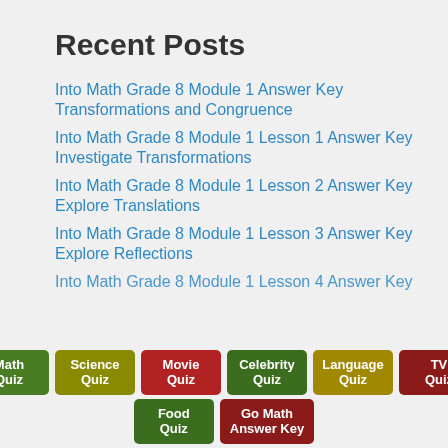Recent Posts
Into Math Grade 8 Module 1 Answer Key Transformations and Congruence
Into Math Grade 8 Module 1 Lesson 1 Answer Key Investigate Transformations
Into Math Grade 8 Module 1 Lesson 2 Answer Key Explore Translations
Into Math Grade 8 Module 1 Lesson 3 Answer Key Explore Reflections
Into Math Grade 8 Module 1 Lesson 4 Answer Key
Math Quiz | Science Quiz | Movie Quiz | Celebrity Quiz | Language Quiz | TV Quiz | Food Quiz | Go Math Answer Key